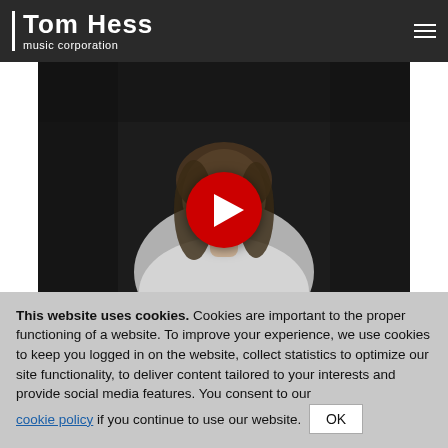Tom Hess music corporation
[Figure (screenshot): Video thumbnail showing a man with long hair in a white shirt against a dark background, with a red circular play button overlay in the center]
…the best option for a student who likes to move ahead…
This website uses cookies. Cookies are important to the proper functioning of a website. To improve your experience, we use cookies to keep you logged in on the website, collect statistics to optimize our site functionality, to deliver content tailored to your interests and provide social media features. You consent to our cookie policy if you continue to use our website. OK